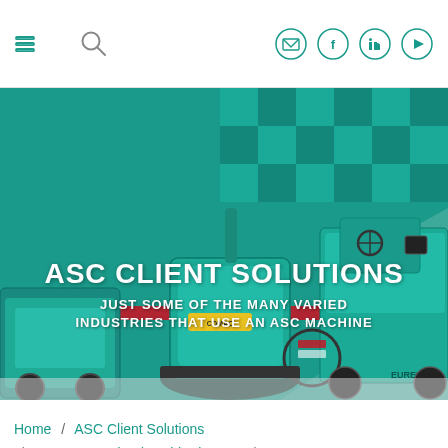Navigation header with hamburger menu, search icon, and social/contact icons
[Figure (photo): Hero banner showing industrial floor cleaning machines (sweepers and scrubbers) in teal color on a teal patterned background with a red stripe accent. Text overlay reads ASC CLIENT SOLUTIONS and JUST SOME OF THE MANY VARIED INDUSTRIES THAT USE AN ASC MACHINE]
Home / ASC Client Solutions / ASC MEP Helped Tyabb Airport... /